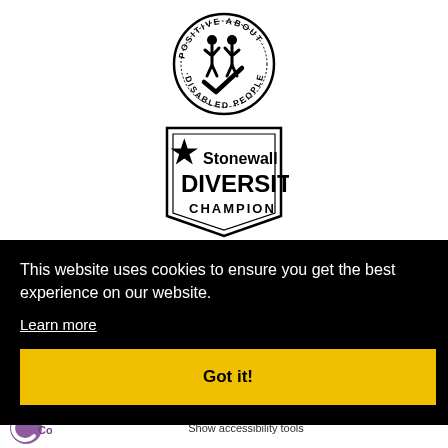[Figure (logo): Positive About Disabled People logo — circular badge with two stylized figures and a checkmark, text reading 'POSITIVE ABOUT · DISABLED PEOPLE' around the circle]
[Figure (logo): Stonewall Diversity Champion logo — banner shape with star, text reading 'Stonewall DIVERSITY CHAMPION']
This website uses cookies to ensure you get the best experience on our website.
Learn more
Got it!
[Figure (logo): Care Quality Commission (CQC) logo — purple circle with 'C' shape]
Show accessibility tools